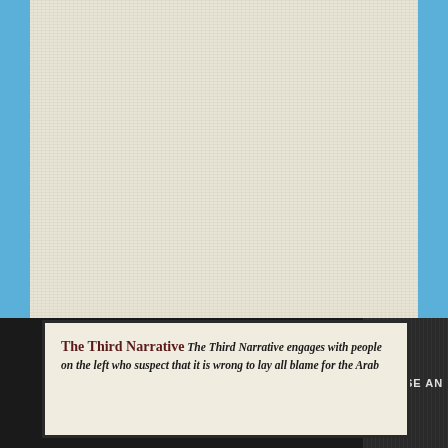[Figure (photo): Large linen/canvas textured cream/beige background occupying most of the upper portion of the page, with a blue border visible on the left and right sides.]
The Third Narrative The Third Narrative engages with people on the left who suspect that it is wrong to lay all blame for the Arab
CHOOSE AN